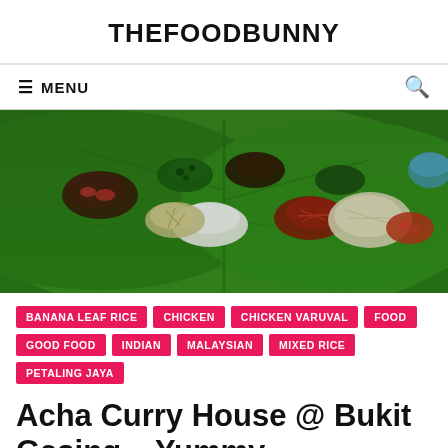THEFOODBUNNY
≡ MENU
[Figure (photo): Banana leaf rice with various curries and side dishes arranged on a green banana leaf, viewed from above]
BANANA LEAF RICE
CHICKEN
CHICKEN VARUVAL
FOOD
GOOD FOOD
INDIAN
MALAYSIAN
MIXED RICE
PETALING JAYA
Acha Curry House @ Bukit Gasing – Yummy